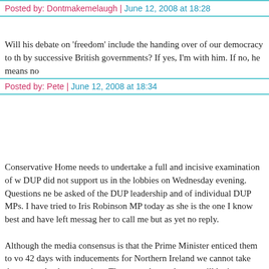Posted by: Dontmakemelaugh | June 12, 2008 at 18:28
Will his debate on 'freedom' include the handing over of our democracy to th by successive British governments? If yes, I'm with him. If no, he means no
Posted by: Pete | June 12, 2008 at 18:34
Conservative Home needs to undertake a full and incisive examination of w DUP did not support us in the lobbies on Wednesday evening. Questions ne be asked of the DUP leadership and of individual DUP MPs. I have tried to Iris Robinson MP today as she is the one I know best and have left messag her to call me but as yet no reply.

Although the media consensus is that the Prime Minister enticed them to vo 42 days with inducements for Northern Ireland we cannot take that as an absolute certainty. They must know that we will be in Government in less tha years time and that they will need our support on many matters. So the que remains why did they abandon us to prop up this failing and unpopular government on such a draconian measure. If they genuinely believe in allow people to be imprisoned for up to 42 days without charge then let them say am disappointed with the total lack of scrutiny as to their motives and beliefs BBC and others should have been interviewing the leadership of the DUP to